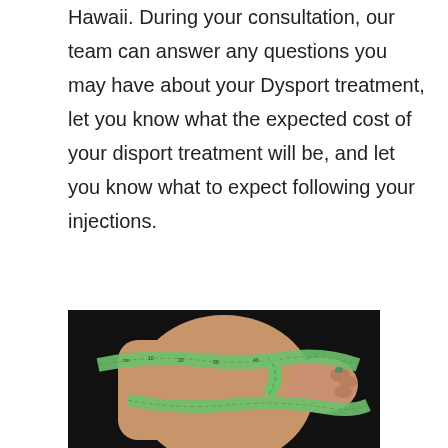Hawaii. During your consultation, our team can answer any questions you may have about your Dysport treatment, let you know what the expected cost of your disport treatment will be, and let you know what to expect following your injections.
[Figure (photo): A person wrapping a green measuring tape around their midsection/waist area against a dark background, showing a side/stomach view.]